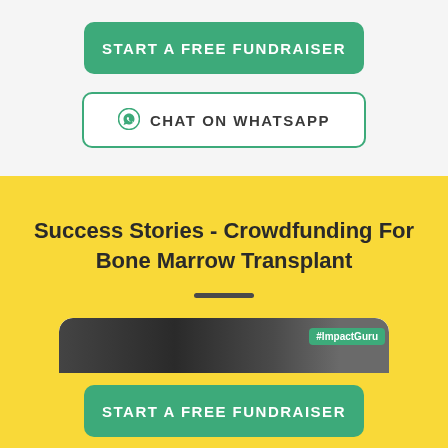[Figure (screenshot): Green rounded button labeled START A FREE FUNDRAISER]
[Figure (screenshot): White outlined rounded button with WhatsApp icon labeled CHAT ON WHATSAPP]
Success Stories - Crowdfunding For Bone Marrow Transplant
[Figure (screenshot): Partial card with dark image strip and ImpactGuru badge peeking at bottom of yellow section]
[Figure (screenshot): Green rounded button labeled START A FREE FUNDRAISER at page bottom]